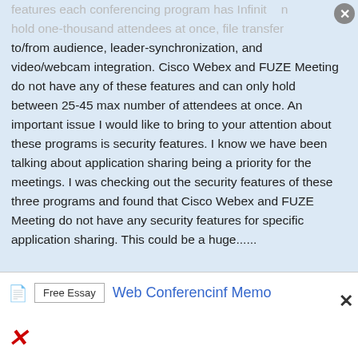features each conferencing program has Infinit...n hold one-thousand attendees at once, file transfer to/from audience, leader-synchronization, and video/webcam integration. Cisco Webex and FUZE Meeting do not have any of these features and can only hold between 25-45 max number of attendees at once. An important issue I would like to bring to your attention about these programs is security features. I know we have been talking about application sharing being a priority for the meetings. I was checking out the security features of these three programs and found that Cisco Webex and FUZE Meeting do not have any security features for specific application sharing. This could be a huge......
Words: 380 - Pages: 2
Free Essay   Web Conferenginf Memo